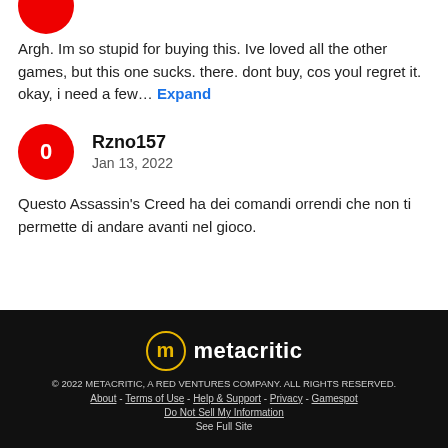Argh. Im so stupid for buying this. Ive loved all the other games, but this one sucks. there. dont buy, cos youl regret it. okay, i need a few… Expand
Rzno157
Jan 13, 2022
Questo Assassin's Creed ha dei comandi orrendi che non ti permette di andare avanti nel gioco.
© 2022 METACRITIC, A RED VENTURES COMPANY. ALL RIGHTS RESERVED.
About - Terms of Use - Help & Support - Privacy - Gamespot
Do Not Sell My Information
See Full Site